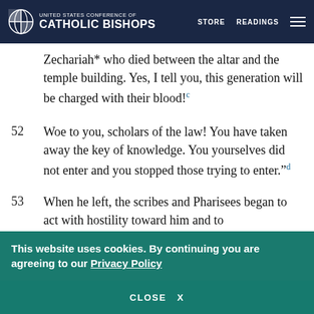UNITED STATES CONFERENCE OF CATHOLIC BISHOPS | STORE  READINGS
Zechariah* who died between the altar and the temple building. Yes, I tell you, this generation will be charged with their blood!c
52   Woe to you, scholars of the law! You have taken away the key of knowledge. You yourselves did not enter and you stopped those trying to enter.”d
53   When he left, the scribes and Pharisees began to act with hostility toward him and to ...e
This website uses cookies. By continuing you are agreeing to our Privacy Policy
CLOSE  X